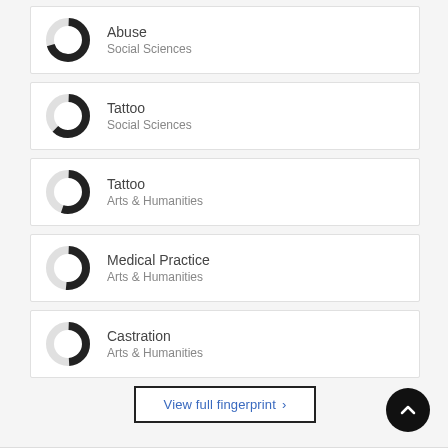Abuse
Social Sciences
Tattoo
Social Sciences
Tattoo
Arts & Humanities
Medical Practice
Arts & Humanities
Castration
Arts & Humanities
View full fingerprint ›